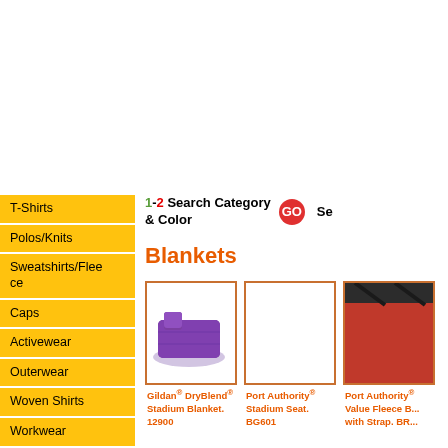T-Shirts
Polos/Knits
Sweatshirts/Fleece
Caps
Activewear
Outerwear
Woven Shirts
Workwear
Bags
Accessories
Blankets
Robes/ Towels
Golf Towels
Aprons
1-2 Search Category & Color GO Se
Blankets
Gildan® DryBlend® Stadium Blanket. 12900
Port Authority® Stadium Seat. BG601
Port Authority® Value Fleece B... with Strap. BR...